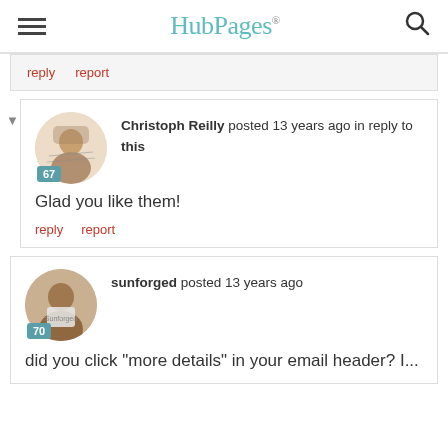HubPages
reply  report
Christoph Reilly posted 13 years ago in reply to this
Glad you like them!
reply  report
sunforged posted 13 years ago
did you click "more details" in your email header? I...